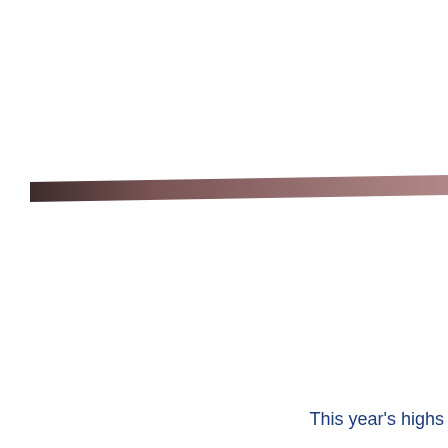[Figure (other): A diagonal brown/mauve colored band or stripe element running horizontally across the page, tapering to a point on the left side, resembling a decorative bar or divider graphic element from a financial report.]
This year's highs